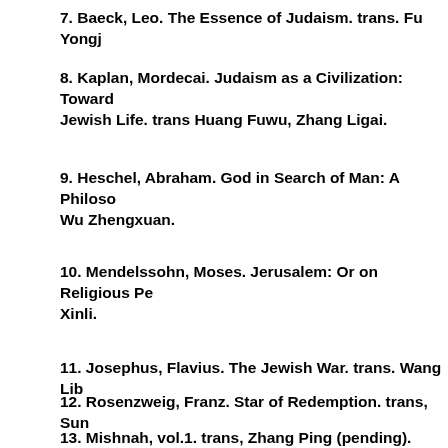7. Baeck, Leo. The Essence of Judaism. trans. Fu Yongj
8. Kaplan, Mordecai. Judaism as a Civilization: Toward Jewish Life. trans Huang Fuwu, Zhang Ligai.
9. Heschel, Abraham. God in Search of Man: A Philoso Wu Zhengxuan.
10. Mendelssohn, Moses. Jerusalem: Or on Religious Pe Xinli.
11. Josephus, Flavius. The Jewish War. trans. Wang Lib
12. Rosenzweig, Franz. Star of Redemption. trans, Sun
13. Mishnah, vol.1. trans, Zhang Ping (pending).
14. Cohen, Hermann. Religion of Reason: Out of the So